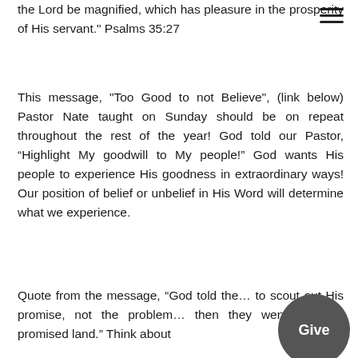[Figure (other): Hamburger menu icon (three horizontal lines) in top right corner]
the Lord be magnified, which has pleasure in the prosperity of His servant." Psalms 35:27
This message, "Too Good to not Believe", (link below) Pastor Nate taught on Sunday should be on repeat throughout the rest of the year!  God told our Pastor, “Highlight My goodwill to My people!”  God wants His people to experience His goodness in extraordinary ways!  Our position of belief or unbelief in His Word will determine what we experience.
Quote from the message, “God told the… to scout out His promise, not the problem… then they went into the promised land.”  Think about
[Figure (other): Dark gray circular button with white text reading 'Give']